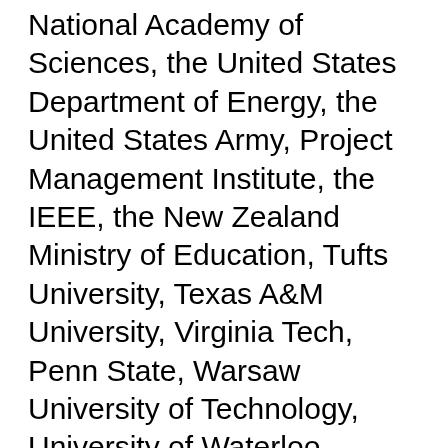National Academy of Sciences, the United States Department of Energy, the United States Army, Project Management Institute, the IEEE, the New Zealand Ministry of Education, Tufts University, Texas A&M University, Virginia Tech, Penn State, Warsaw University of Technology, University of Waterloo, Loughborough University London, and others. Graffius has spoken at 58 conferences and other events around the world, including Armenia, Australia, Brazil, Canada, Czech Republic, Finland, France, Germany, Greece, India, Ireland, Lithuania, Luxembourg, Netherlands, New Zealand, Sweden, United Kingdom, and the United States. Thinkers360 named Graffius a global top thought leader and influencer in four domains: Agile, Change Management, Digital Transformation, and Go-To...